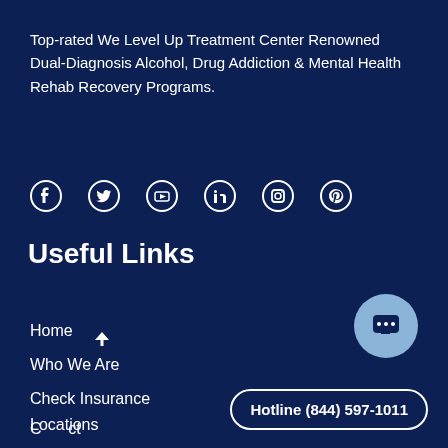Top-rated We Level Up Treatment Center Renowned Dual-Diagnosis Alcohol, Drug Addiction & Mental Health Rehab Recovery Programs.
[Figure (infographic): Social media icons row: Facebook, Twitter, YouTube, LinkedIn, Instagram, Pinterest]
Useful Links
Home
Who We Are
Check Insurance
Contact
Locations
[Figure (illustration): Chat bubble icon button (light blue circle with three dots)]
Hotline (844) 597-1011